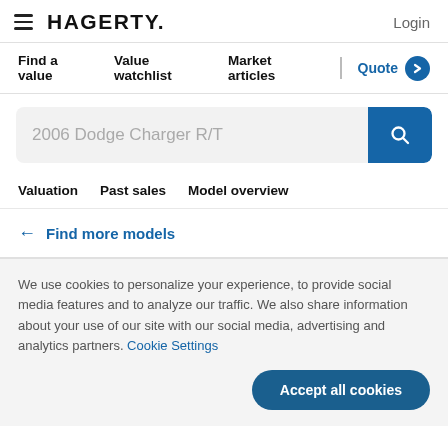HAGERTY. Login
Find a value  Value watchlist  Market articles  Quote
2006 Dodge Charger R/T
Valuation  Past sales  Model overview
← Find more models
We use cookies to personalize your experience, to provide social media features and to analyze our traffic. We also share information about your use of our site with our social media, advertising and analytics partners. Cookie Settings
Accept all cookies